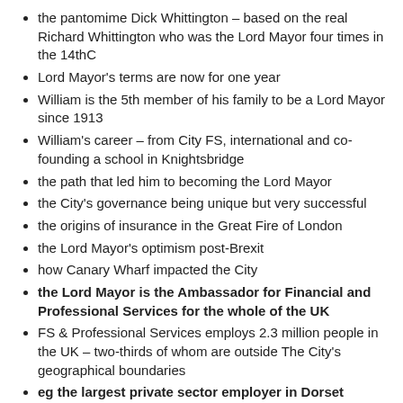the pantomime Dick Whittington – based on the real Richard Whittington who was the Lord Mayor four times in the 14thC
Lord Mayor's terms are now for one year
William is the 5th member of his family to be a Lord Mayor since 1913
William's career – from City FS, international and co-founding a school in Knightsbridge
the path that led him to becoming the Lord Mayor
the City's governance being unique but very successful
the origins of insurance in the Great Fire of London
the Lord Mayor's optimism post-Brexit
how Canary Wharf impacted the City
the Lord Mayor is the Ambassador for Financial and Professional Services for the whole of the UK
FS & Professional Services employs 2.3 million people in the UK – two-thirds of whom are outside The City's geographical boundaries
eg the largest private sector employer in Dorset